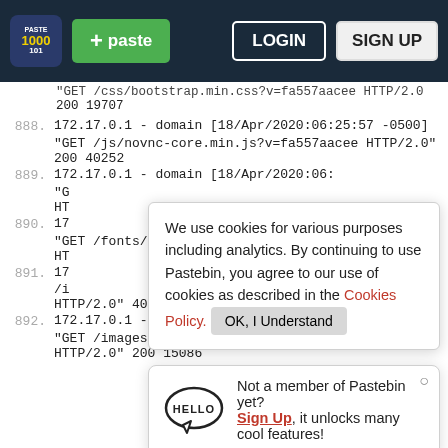[Figure (screenshot): Pastebin website navbar with logo, green +paste button, LOGIN and SIGN UP buttons on dark navy background]
GET /css/bootstrap.min.css?v=fa557aacee HTTP/2.0
200 19707
888. 172.17.0.1 - domain [18/Apr/2020:06:25:57 -0500]
"GET /js/novnc-core.min.js?v=fa557aacee HTTP/2.0"
200 40252
889. 172.17.0.1 - domain [18/Apr/2020:06:25:58 -0500]
"G
HT
We use cookies for various purposes including analytics. By continuing to use Pastebin, you agree to our use of cookies as described in the Cookies Policy. OK, I Understand
890. 17
"GET /fonts/fontawesome-webfont.woff2?v=4.7.0
HT
Not a member of Pastebin yet? Sign Up, it unlocks many cool features!
891. 17
/i
HTTP/2.0" 401 17
892. 172.17.0.1 - domain [18/Apr/2020:06:25:58 -0500]
"GET /images/icons/favicon.ico?v=fc31d36156
HTTP/2.0" 200 15086